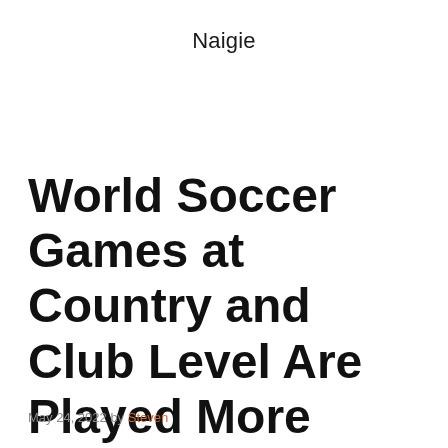Naigie
World Soccer Games at Country and Club Level Are Played More Often Now Than World Cups Every 4 Yrs
May 24, 2022 by Steven